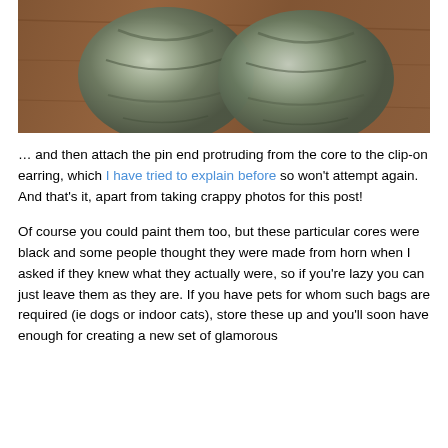[Figure (photo): Close-up photo of two oval-shaped earring components with a marbled grey-green metallic finish, resting on a wooden surface.]
… and then attach the pin end protruding from the core to the clip-on earring, which I have tried to explain before so won't attempt again. And that's it, apart from taking crappy photos for this post!
Of course you could paint them too, but these particular cores were black and some people thought they were made from horn when I asked if they knew what they actually were, so if you're lazy you can just leave them as they are. If you have pets for whom such bags are required (ie dogs or indoor cats), store these up and you'll soon have enough for creating a new set of glamorous